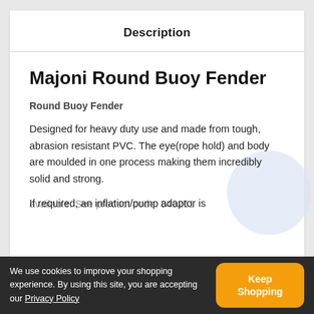Description
Majoni Round Buoy Fender
Round Buoy Fender
Designed for heavy duty use and made from tough, abrasion resistant PVC. The eye(rope hold) and body are moulded in one process making them incredibly solid and strong.
If required, an inflation/pump adaptor is available. See product code: 840261
We use cookies to improve your shopping experience. By using this site, you are accepting our Privacy Policy
Keep Shopping